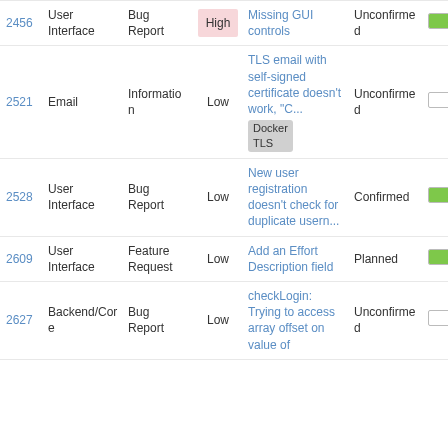| ID | Category | Type | Priority | Title | Status | Progress |
| --- | --- | --- | --- | --- | --- | --- |
| 2456 | User Interface | Bug Report | High | Missing GUI controls | Unconfirmed | 80% |
| 2521 | Email | Information | Low | TLS email with self-signed certificate doesn't work, "C...
Docker TLS | Unconfirmed | 0% |
| 2528 | User Interface | Bug Report | Low | New user registration doesn't check for duplicate usern... | Confirmed | 50% |
| 2609 | User Interface | Feature Request | Low | Add an Effort Description field | Planned | 50% |
| 2627 | Backend/Core | Bug Report | Low | checkLogin: Trying to access array offset on value of | Unconfirmed | 0% |